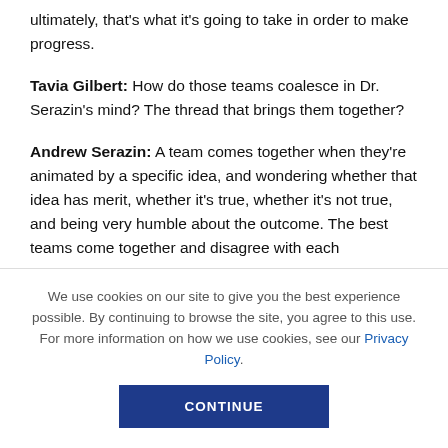ultimately, that's what it's going to take in order to make progress.
Tavia Gilbert: How do those teams coalesce in Dr. Serazin's mind? The thread that brings them together?
Andrew Serazin: A team comes together when they're animated by a specific idea, and wondering whether that idea has merit, whether it's true, whether it's not true, and being very humble about the outcome. The best teams come together and disagree with each
We use cookies on our site to give you the best experience possible. By continuing to browse the site, you agree to this use. For more information on how we use cookies, see our Privacy Policy.
CONTINUE